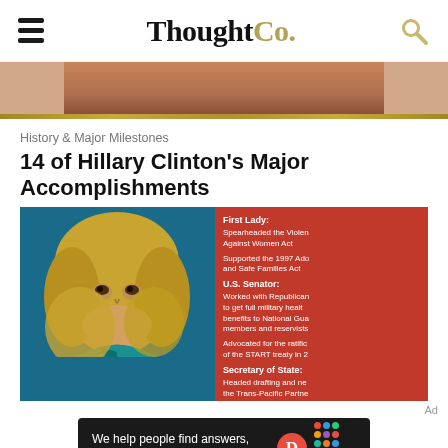ThoughtCo.
[Figure (photo): Partial photo visible at top of page, cropped]
History & Major Milestones
14 of Hillary Clinton's Major Accomplishments
[Figure (illustration): Illustrated portrait of Hillary Clinton against red background with infographic text listing accomplishments as First Lady, U.S. Senator, and Secretary of State]
Ad
[Figure (logo): Dotdash Meredith advertisement banner: 'We help people find answers, solve problems and get inspired.' with Dotdash Meredith logo]